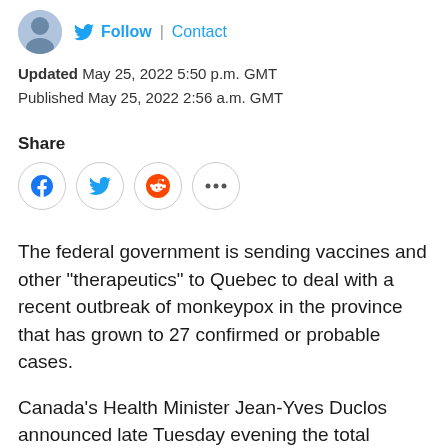Follow | Contact
Updated May 25, 2022 5:50 p.m. GMT
Published May 25, 2022 2:56 a.m. GMT
Share
[Figure (infographic): Social share buttons: Facebook, Twitter, Reddit, More (...)]
The federal government is sending vaccines and other "therapeutics" to Quebec to deal with a recent outbreak of monkeypox in the province that has grown to 27 confirmed or probable cases.
Canada's Health Minister Jean-Yves Duclos announced late Tuesday evening the total number of confirmed cases has risen by 10 in Quebec, the first known hot-spot in the country and the only province to confirm positive